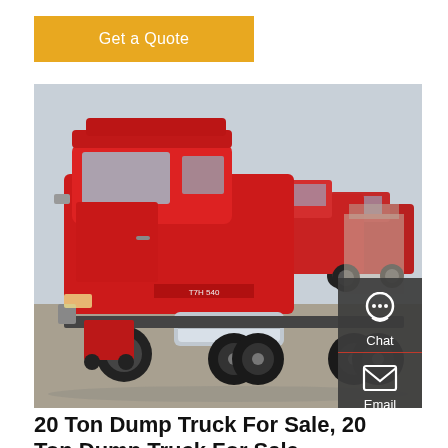Get a Quote
[Figure (photo): Red Sinotruk HOWO heavy dump truck (tractor unit) parked in a lot, with multiple red trucks visible in the background. The truck is large and red with a chrome fuel tank visible.]
20 Ton Dump Truck For Sale, 20 Ton Dump Truck For Sale
Sinotruk 18CBM 30 Ton Ghana 16 Cubic Meter 10 Wheel 20 Cubic Meters Volume Sand Dumper Tipper Howo Dump Truck